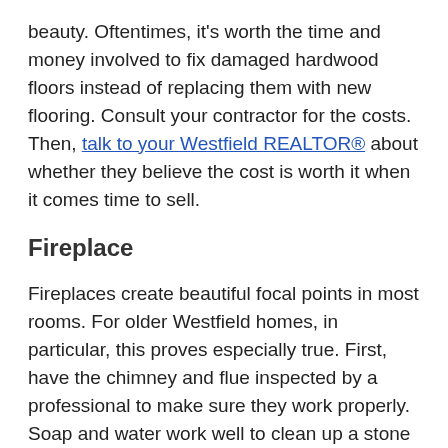beauty. Oftentimes, it's worth the time and money involved to fix damaged hardwood floors instead of replacing them with new flooring. Consult your contractor for the costs. Then, talk to your Westfield REALTOR® about whether they believe the cost is worth it when it comes time to sell.
Fireplace
Fireplaces create beautiful focal points in most rooms. For older Westfield homes, in particular, this proves especially true. First, have the chimney and flue inspected by a professional to make sure they work properly. Soap and water work well to clean up a stone surround. But a wooden mantel requires a more delicate touch. Sand it down before applying a fresh stain or coat of paint. Pay special attention to any original detailing. Even a non-functioning